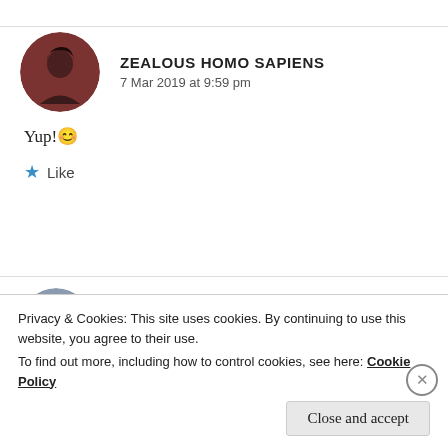[Figure (photo): Circular avatar of a person with dark hair against a reddish-brown background, comment author Zealous Homo Sapiens]
ZEALOUS HOMO SAPIENS
7 Mar 2019 at 9:59 pm
Yup! 😊
★ Like
[Figure (photo): Circular avatar of a person, comment author Ananya, partial view with blue-gray tones]
ANANYA
Privacy & Cookies: This site uses cookies. By continuing to use this website, you agree to their use.
To find out more, including how to control cookies, see here: Cookie Policy
Close and accept